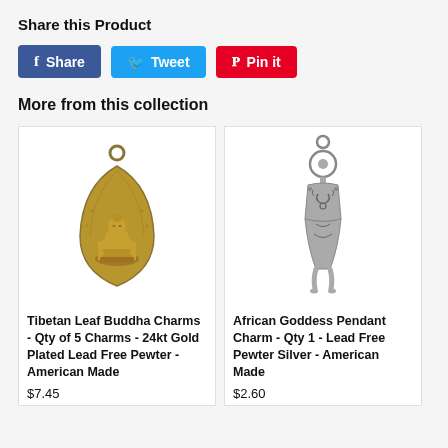Share this Product
[Figure (other): Social sharing buttons: Facebook Share, Twitter Tweet, Pinterest Pin it]
More from this collection
[Figure (photo): Tibetan Leaf Buddha Charm - gold colored pendant with Buddha sitting under a leaf/bodhi tree shape]
Tibetan Leaf Buddha Charms - Qty of 5 Charms - 24kt Gold Plated Lead Free Pewter - American Made
$7.45
[Figure (photo): African Goddess Pendant Charm - silver colored female figure pendant with circular head and decorative body]
African Goddess Pendant Charm - Qty 1 - Lead Free Pewter Silver - American Made
$2.60